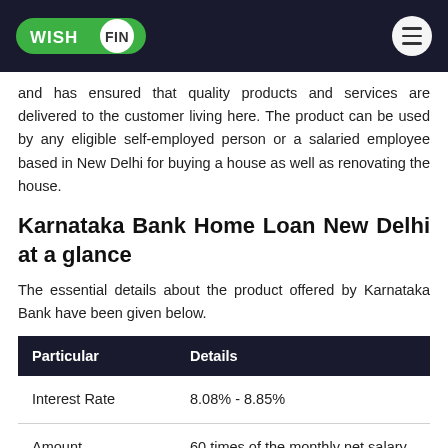WISHFIN
and has ensured that quality products and services are delivered to the customer living here. The product can be used by any eligible self-employed person or a salaried employee based in New Delhi for buying a house as well as renovating the house.
Karnataka Bank Home Loan New Delhi at a glance
The essential details about the product offered by Karnataka Bank have been given below.
| Particular | Details |
| --- | --- |
| Interest Rate | 8.08% - 8.85% |
| Amount | 60 times of the monthly net salary or 5 times of the current year net income or maximum up to ₹5 crore for purchase or construction of |